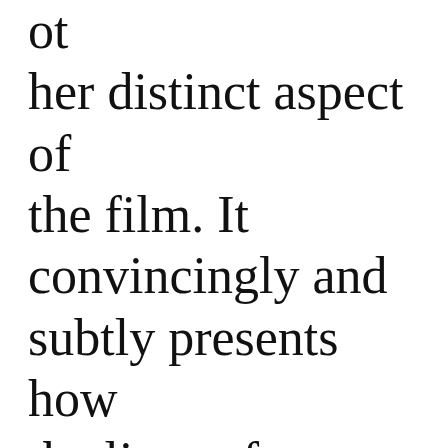ot her distinct aspect of the film. It convincingly and subtly presents how the lives of American citizens are devastated and impacted by loved